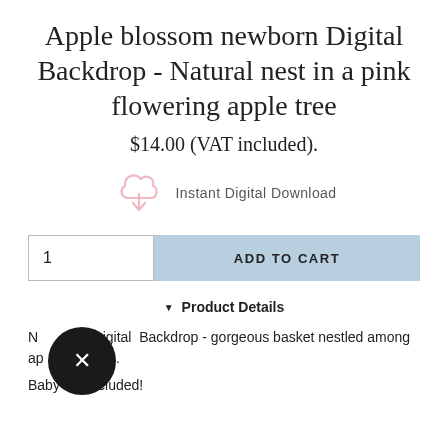Apple blossom newborn Digital Backdrop - Natural nest in a pink flowering apple tree
$14.00 (VAT included).
[Figure (illustration): Pink cloud/download icon with downward arrow, representing Instant Digital Download]
Instant Digital Download
1  ADD TO CART
Product Details
Newborn Digital Backdrop - gorgeous basket nestled among apple blossom.
Baby not included!